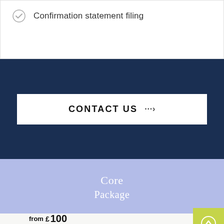Confirmation statement filing
[Figure (screenshot): CONTACT US button with arrow dots on dark navy background]
Core
Package
from £100